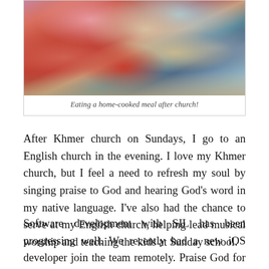[Figure (photo): Group of people eating a home-cooked meal together around a table with various dishes]
Eating a home-cooked meal after church!
After Khmer church on Sundays, I go to an English church in the evening. I love my Khmer church, but I feel a need to refresh my soul by singing praise to God and hearing God’s word in my native language. I’ve also had the chance to serve at my English church, helping lead musical worship and teaching the kids at Sunday school.
Software development with SIL has been progressing well. We recently had a new iOS developer join the team remotely. Praise God for that! This past month, I’ve continued behind-the-scenes work to improve the